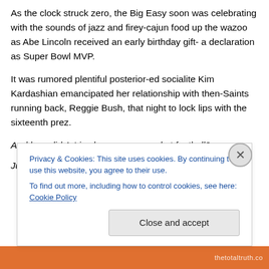As the clock struck zero, the Big Easy soon was celebrating with the sounds of jazz and firey-cajun food up the wazoo as Abe Lincoln received an early birthday gift- a declaration as Super Bowl MVP.
It was rumored plentiful posterior-ed socialite Kim Kardashian emancipated her relationship with then-Saints running back, Reggie Bush, that night to lock lips with the sixteenth prez.
And how did A-Linc become so good at football?
Just because...
Privacy & Cookies: This site uses cookies. By continuing to use this website, you agree to their use.
To find out more, including how to control cookies, see here: Cookie Policy
Close and accept